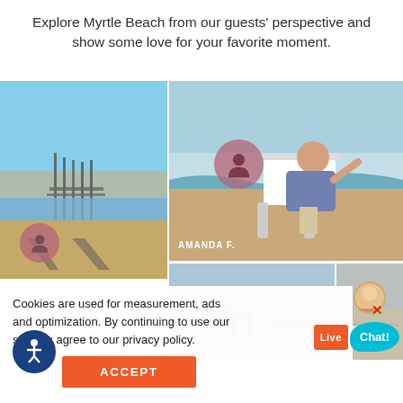Explore Myrtle Beach from our guests' perspective and show some love for your favorite moment.
[Figure (photo): Beach pier photo with people's shadows on sand - left large panel]
[Figure (photo): Woman sitting in beach chair by the ocean waving - AMANDA F.]
[Figure (photo): Surfers on beach at water's edge - bottom middle panel]
[Figure (photo): Aerial or beach sand photo - TAMMY A. bottom right panel]
Cookies are used for measurement, ads and optimization. By continuing to use our site you agree to our privacy policy.
ACCEPT
Live Chat!